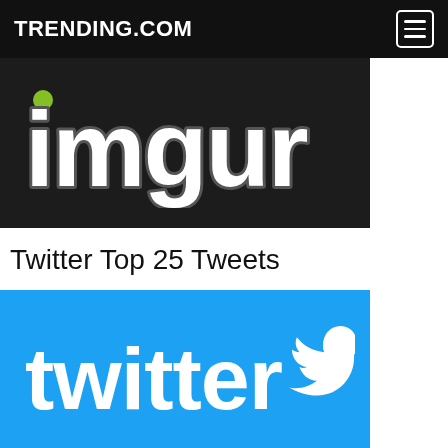TRENDING.COM
[Figure (logo): Imgur logo — white rounded lowercase 'imgur' text on dark background]
Twitter Top 25 Tweets
[Figure (logo): Twitter logo — white 'twitter' wordmark with bird icon on light blue background]